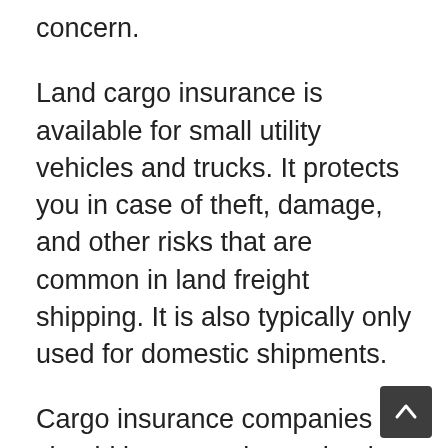concern.
Land cargo insurance is available for small utility vehicles and trucks. It protects you in case of theft, damage, and other risks that are common in land freight shipping. It is also typically only used for domestic shipments.
Cargo insurance companies should be open about what is covered and what isn't. Most policies do not pay out if the cause is related to poor or inadequate packaging or flawed products. They may also have limitations related to the type of freight you are hauling. For